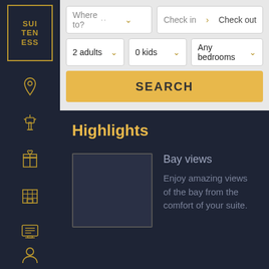[Figure (logo): Suiteness logo — gold bordered box with text SUI TEN ESS]
[Figure (infographic): Left sidebar with gold outline icons: location pin, control tower, gift box, hotel building, screen/list, and user profile icon]
Where to?
Check in > Check out
2 adults
0 kids
Any bedrooms
SEARCH
Highlights
Bay views
Enjoy amazing views of the bay from the comfort of your suite.